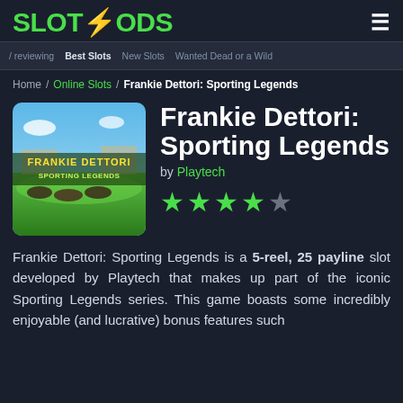SLOTGODS
Home / Online Slots / Frankie Dettori: Sporting Legends
Frankie Dettori: Sporting Legends
[Figure (illustration): Game thumbnail for Frankie Dettori: Sporting Legends showing a horse racing scene with green fields and blue sky, with game title text overlay]
by Playtech
[Figure (other): Star rating: 4 out of 5 green stars]
Frankie Dettori: Sporting Legends is a 5-reel, 25 payline slot developed by Playtech that makes up part of the iconic Sporting Legends series. This game boasts some incredibly enjoyable (and lucrative) bonus features such